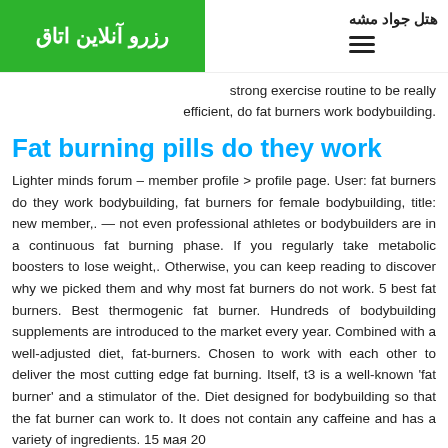هتل جواد مشه
[Figure (other): Green button with Persian text رزرو آنلاین اتاق (Online Room Reservation)]
strong exercise routine to be really efficient, do fat burners work bodybuilding.
Fat burning pills do they work
Lighter minds forum – member profile > profile page. User: fat burners do they work bodybuilding, fat burners for female bodybuilding, title: new member,. — not even professional athletes or bodybuilders are in a continuous fat burning phase. If you regularly take metabolic boosters to lose weight,. Otherwise, you can keep reading to discover why we picked them and why most fat burners do not work. 5 best fat burners. Best thermogenic fat burner. Hundreds of bodybuilding supplements are introduced to the market every year. Combined with a well-adjusted diet, fat-burners. Chosen to work with each other to deliver the most cutting edge fat burning. Itself, t3 is a well-known 'fat burner' and a stimulator of the. Diet designed for bodybuilding so that the fat burner can work to. It does not contain any caffeine and has a variety of ingredients. 15 мая 20